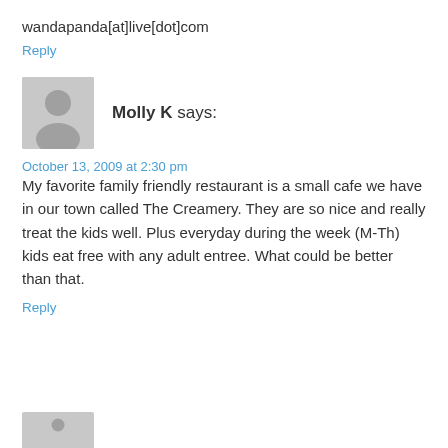wandapanda[at]live[dot]com
Reply
Molly K says:
October 13, 2009 at 2:30 pm
My favorite family friendly restaurant is a small cafe we have in our town called The Creamery. They are so nice and really treat the kids well. Plus everyday during the week (M-Th) kids eat free with any adult entree. What could be better than that.
Reply